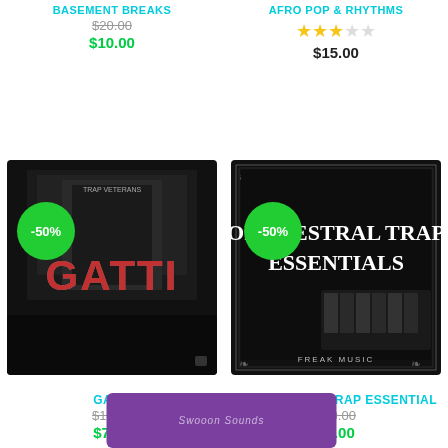BASEMENT BREAKS
$20.00 (original price)
$10.00 (sale price)
AFRO POP & RHYTHMS
[Figure (other): Star rating: 3 out of 5 stars (gold stars)]
$15.00
[Figure (photo): Album cover for GATTI — dark moody image with bold red and grey GATTI text, -50% discount badge]
GATTI
$15.00 (original) $7.50 (sale)
[Figure (photo): Album cover for Orchestral Trap Essentials by Freak Music — dark background with ornate borders, -50% discount badge]
ORCHESTRAL TRAP ESSENTIAL
$10.00 (original) $5.00 (sale)
[Figure (other): Bottom partial product card with purple background and 'Swooon Sounds' text]